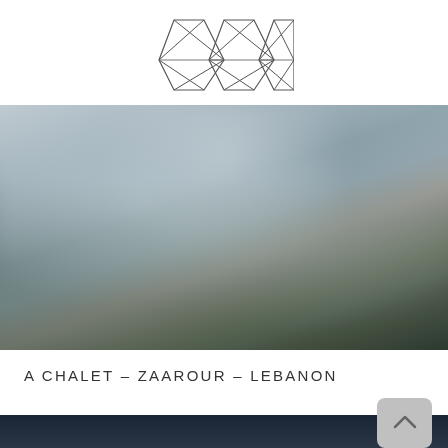[Figure (logo): Geometric diamond/triangular wireframe logo composed of interconnected triangular facets forming a horizontal row of three diamond shapes]
[Figure (photo): Blurred architectural rendering or photograph of a chalet building set in a mountainous landscape, showing stone and contemporary architecture with surrounding greenery and overcast sky]
A CHALET – ZAAROUR – LEBANON
[Figure (photo): Bottom strip showing beginning of another image with dark blue/navy tones, partially visible]